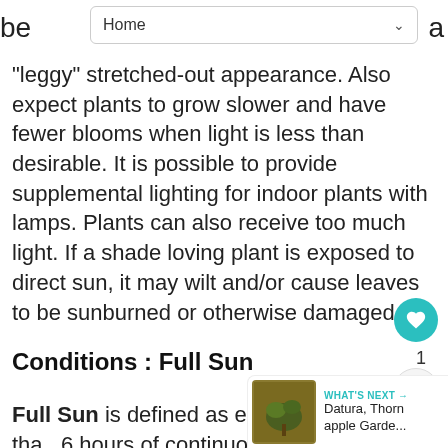Home
be... a "leggy" stretched-out appearance. Also expect plants to grow slower and have fewer blooms when light is less than desirable. It is possible to provide supplemental lighting for indoor plants with lamps. Plants can also receive too much light. If a shade loving plant is exposed to direct sun, it may wilt and/or cause leaves to be sunburned or otherwise damaged.
Conditions : Full Sun
Full Sun is defined as exposure to more than 6 hours of continuous, direct sun pe...
[Figure (other): Heart/like button (teal circle with heart icon) showing count of 1, and a share button below it]
[Figure (other): What's Next panel with thumbnail image of a plant and text: Datura, Thorn apple Garde...]